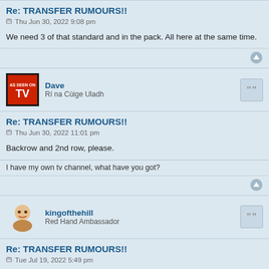Re: TRANSFER RUMOURS!!
Thu Jun 30, 2022 9:08 pm
We need 3 of that standard and in the pack. All here at the same time.
Dave
Ri na Cúige Uladh
Re: TRANSFER RUMOURS!!
Thu Jun 30, 2022 11:01 pm
Backrow and 2nd row, please.
I have my own tv channel, what have you got?
kingofthehill
Red Hand Ambassador
Re: TRANSFER RUMOURS!!
Tue Jul 19, 2022 5:49 pm
New scrumhalf